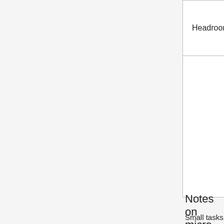| Headroom | Explorer | Low-Risk | Fun… |
| --- | --- | --- | --- |
|  |  |  |  |
Notes on micro tasks
Small tasks that give familiarity with code
'true/false' synonyms.
Many functions have bool parameters. A function call like DoUpdates( mMessage, true, false, false ); is not self documenting. Fix it.
Past GSoC Ideas
Subheadings for each idea: